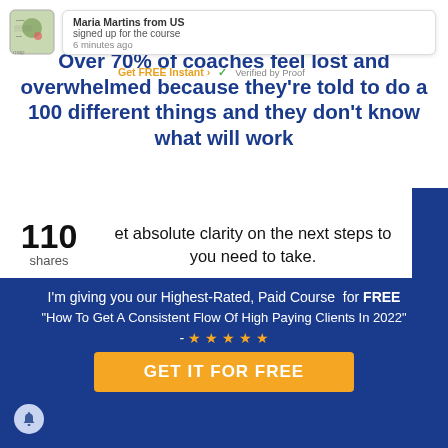[Figure (screenshot): Map icon / location graphic in top left corner]
Maria Martins from US signed up for the course 6 minutes ago
Get FREE Instant ✓ Verified by Proof
Over 70% of coaches feel lost and overwhelmed because they're told to do a 100 different things and they don't know what will work
110 shares
et absolute clarity on the next steps to you need to take.
n up for our highest-rated, paid course
ow To Get a Consistent Flow Of High Paying Clients in 2022
★ ★ ★ ★ ★
I'm giving you our Highest-Rated, Paid Course for FREE "How To Get A Consistent Flow Of High Paying Clients In 2022" - ★ ★ ★ ★ ★
GET IT FOR FREE